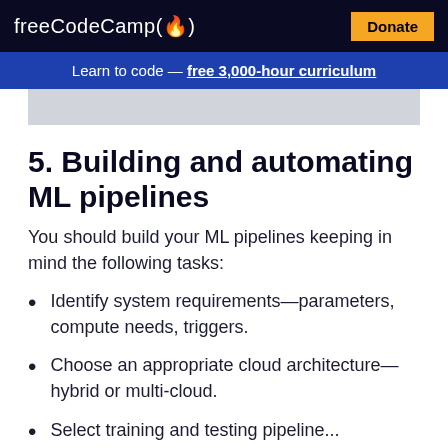freeCodeCamp(🔥)  Donate
Learn to code — free 3,000-hour curriculum
[Figure (other): Gray image/banner placeholder]
5. Building and automating ML pipelines
You should build your ML pipelines keeping in mind the following tasks:
Identify system requirements—parameters, compute needs, triggers.
Choose an appropriate cloud architecture—hybrid or multi-cloud.
Select training and testing pipeline...